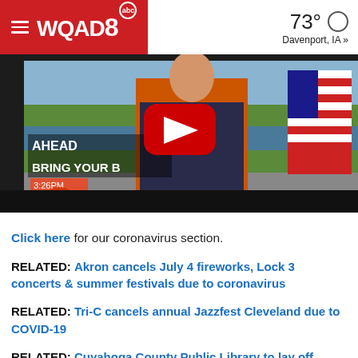WQAD8 abc | 73° Davenport, IA »
[Figure (screenshot): Video thumbnail showing a news broadcast with a YouTube play button overlay. Text visible: 'AHEAD', 'BRING YOUR B', '3:26PM', NBC 3 logo. US flag visible on right side.]
Click here for our coronavirus section.
RELATED: Akron cancels July 4 fireworks, Lock 3 concerts & summer festivals due to coronavirus
RELATED: Tri-C cancels annual Jazzfest Cleveland due to COVID-19
RELATED: Cuyahoga County Public Library to lay off, furlough more than 300 staff members as part of $5